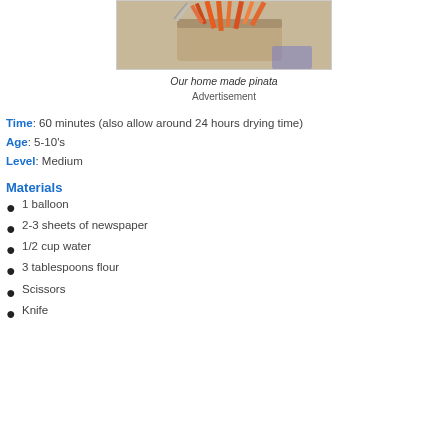[Figure (photo): A homemade pinata with orange paper fringe on a cardboard tube, with a silver ribbon, on a light background with purple accent.]
Our home made pinata
Advertisement
Time: 60 minutes (also allow around 24 hours drying time)
Age: 5-10's
Level: Medium
Materials
1 balloon
2-3 sheets of newspaper
1/2 cup water
3 tablespoons flour
Scissors
Knife